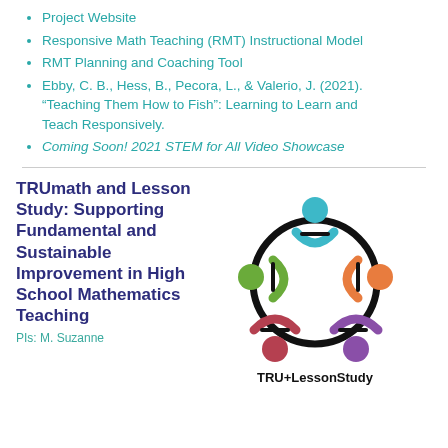Project Website
Responsive Math Teaching (RMT) Instructional Model
RMT Planning and Coaching Tool
Ebby, C. B., Hess, B., Pecora, L., & Valerio, J. (2021). “Teaching Them How to Fish”: Learning to Learn and Teach Responsively.
Coming Soon! 2021 STEM for All Video Showcase
TRUmath and Lesson Study: Supporting Fundamental and Sustainable Improvement in High School Mathematics Teaching
PIs: M. Suzanne
[Figure (logo): TRU+LessonStudy circular logo with four colored figures (teal, orange, purple, red) connected in a circle with black arc lines, and 'TRU+LessonStudy' text below]